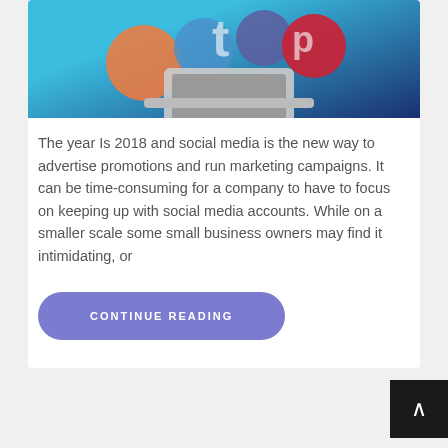[Figure (illustration): Social media marketing illustration showing social media icons (Twitter, Pinterest, etc.) and a laptop on a blue gradient background]
The year Is 2018 and social media is the new way to advertise promotions and run marketing campaigns. It can be time-consuming for a company to have to focus on keeping up with social media accounts. While on a smaller scale some small business owners may find it intimidating, or
CONTINUE READING
Category:  Research, Reviews, Reading